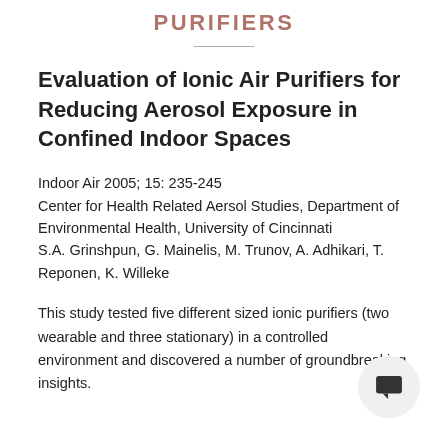PURIFIERS
Evaluation of Ionic Air Purifiers for Reducing Aerosol Exposure in Confined Indoor Spaces
Indoor Air 2005; 15: 235-245
Center for Health Related Aersol Studies, Department of Environmental Health, University of Cincinnati
S.A. Grinshpun, G. Mainelis, M. Trunov, A. Adhikari, T. Reponen, K. Willeke
This study tested five different sized ionic purifiers (two wearable and three stationary) in a controlled environment and discovered a number of groundbreaking insights.